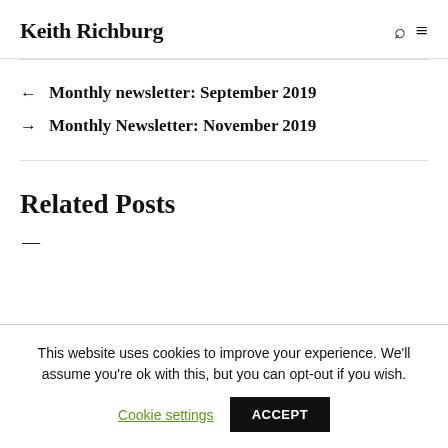Keith Richburg
← Monthly newsletter: September 2019
→ Monthly Newsletter: November 2019
Related Posts
This website uses cookies to improve your experience. We'll assume you're ok with this, but you can opt-out if you wish.
Cookie settings  ACCEPT